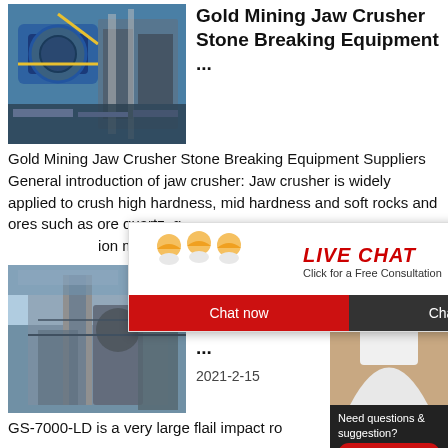[Figure (photo): Gold mining jaw crusher industrial machinery with blue cylindrical components and yellow piping]
Gold Mining Jaw Crusher Stone Breaking Equipment ...
Gold Mining Jaw Crusher Stone Breaking Equipment Suppliers General introduction of jaw crusher: Jaw crusher is widely applied to crush high hardness, mid hardness and soft rocks and ores such as ore quartz, g... ion materials, ma...
[Figure (photo): Live Chat popup overlay with construction workers in yellow helmets and text 'LIVE CHAT - Click for a Free Consultation' with Chat now and Chat later buttons]
[Figure (photo): Customer support agent with headset on right side panel with '24Hrs Online' banner]
[Figure (photo): Gold ore processing factory/plant industrial building exterior]
Gold Ore Rock C Flail Proce ...
2021-2-15
GS-7000-LD is a very large flail impact ro...
Need questions & suggestion?
Chat Now
Enquire